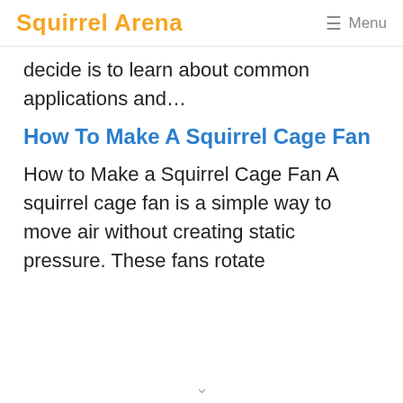Squirrel Arena  ☰ Menu
decide is to learn about common applications and…
How To Make A Squirrel Cage Fan
How to Make a Squirrel Cage Fan A squirrel cage fan is a simple way to move air without creating static pressure. These fans rotate